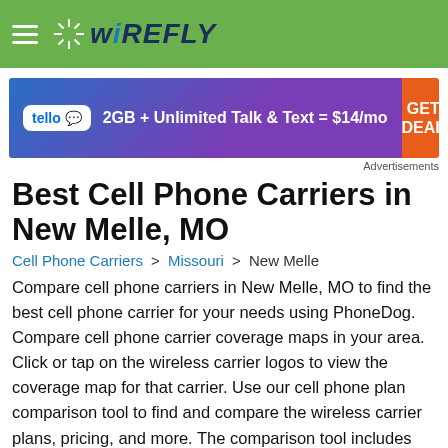WIREFLY
[Figure (infographic): Tello advertisement banner: tello logo, '2GB + Unlimited Talk & Text = $14/mo', GET DEAL button in orange]
Advertisements
Best Cell Phone Carriers in New Melle, MO
Cell Phone Carriers > Missouri > New Melle
Compare cell phone carriers in New Melle, MO to find the best cell phone carrier for your needs using PhoneDog. Compare cell phone carrier coverage maps in your area. Click or tap on the wireless carrier logos to view the coverage map for that carrier. Use our cell phone plan comparison tool to find and compare the wireless carrier plans, pricing, and more. The comparison tool includes major and minor carriers. The minor carriers and MVNOs run on the networks of one of the major carriers.